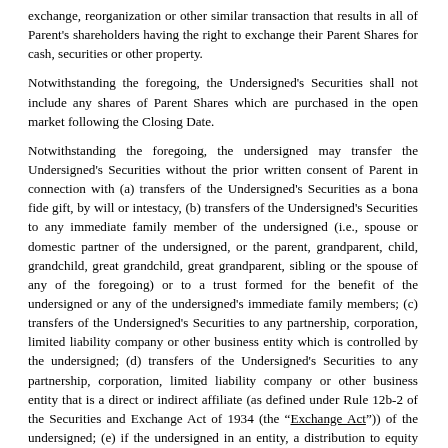exchange, reorganization or other similar transaction that results in all of Parent's shareholders having the right to exchange their Parent Shares for cash, securities or other property.
Notwithstanding the foregoing, the Undersigned's Securities shall not include any shares of Parent Shares which are purchased in the open market following the Closing Date.
Notwithstanding the foregoing, the undersigned may transfer the Undersigned's Securities without the prior written consent of Parent in connection with (a) transfers of the Undersigned's Securities as a bona fide gift, by will or intestacy, (b) transfers of the Undersigned's Securities to any immediate family member of the undersigned (i.e., spouse or domestic partner of the undersigned, or the parent, grandparent, child, grandchild, great grandchild, great grandparent, sibling or the spouse of any of the foregoing) or to a trust formed for the benefit of the undersigned or any of the undersigned's immediate family members; (c) transfers of the Undersigned's Securities to any partnership, corporation, limited liability company or other business entity which is controlled by the undersigned; (d) transfers of the Undersigned's Securities to any partnership, corporation, limited liability company or other business entity that is a direct or indirect affiliate (as defined under Rule 12b-2 of the Securities and Exchange Act of 1934 (the "Exchange Act")) of the undersigned; (e) if the undersigned in an entity, a distribution to equity holders (including, without limitation, stockholders, general or limited partners, members and beneficiaries) of the undersigned; (f) transfers of the Undersigned's Securities upon the completion of a bona fide third-party tender offer, merger, consolidation or other similar transaction made to all holders of the Parent's securities involving a change of control of Parent whereby all or the undersigned's shareholders having the right to exchange their shares of